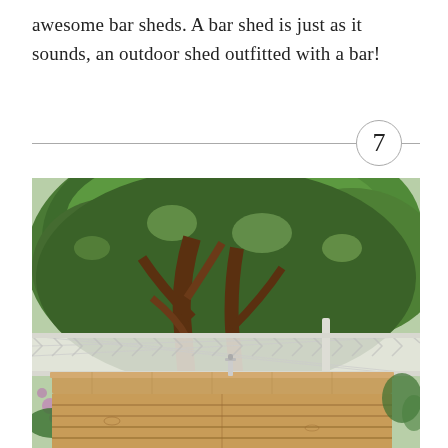awesome bar sheds. A bar shed is just as it sounds, an outdoor shed outfitted with a bar!
7
[Figure (photo): Outdoor photo showing a wooden bar shed in a backyard. The bar shed is made of light-colored cedar wood planks with a flat counter top. Behind it is a large tree with dense green foliage, white lattice fencing, and flowering bushes.]